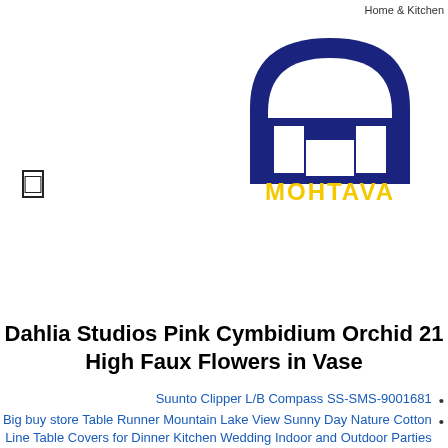Home & Kitchen
[Figure (logo): Mohtava logo: dark blue arch with stylized T-shaped symbol, yellow text MOHTAVA below]
☐
Dahlia Studios Pink Cymbidium Orchid 21 High Faux Flowers in Vase
Suunto Clipper L/B Compass SS-SMS-9001681
Big buy store Table Runner Mountain Lake View Sunny Day Nature Cotton Line Table Covers for Dinner Kitchen Wedding Indoor and Outdoor Parties Table Setting Decor 13 x 120 inch
or 3 Pack Mens Cool Dry Short Sleeve Compression Shirts 2 TSLA 1 Athletic Workout Shirt Active Sports Base Layer T-Shirts
140s 5 Color Acrylic Alphabet Cube Beads Letter Beads with 1 Roll 50M Crystal String Cord for Jewelry Making6mm
Knee High Length MadSportsStuff Softball Socks with Stitches